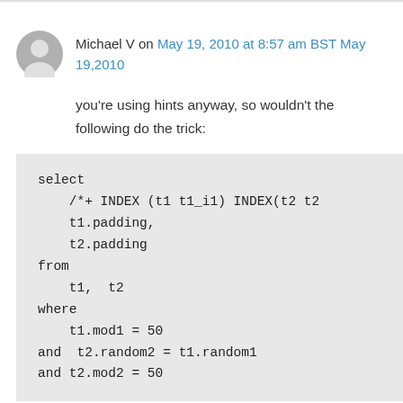Michael V on May 19, 2010 at 8:57 am BST May 19,2010
you're using hints anyway, so wouldn't the following do the trick:
select
    /*+ INDEX (t1 t1_i1) INDEX(t2 t2
    t1.padding,
    t2.padding
from
    t1,  t2
where
    t1.mod1 = 50
and  t2.random2 = t1.random1
and t2.mod2 = 50